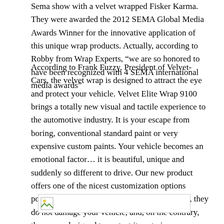Sema show with a velvet wrapped Fisker Karma. They were awarded the 2012 SEMA Global Media Awards Winner for the innovative application of this unique wrap products. Actually, according to Robby from Wrap Experts, “we are so honored to have been recognized with 4 SEMA international media awards”
According to Frank Fuzzy, President of Velvet-Cars, the velvet wrap is designed to attract the eye and protect your vehicle. Velvet Elite Wrap 9100 brings a totally new visual and tactile experience to the automotive industry. It is your escape from boring, conventional standard paint or very expensive custom paints. Your vehicle becomes an emotional factor… it is beautiful, unique and suddenly so different to drive. Our new product offers one of the nicest customization options possible in the world. Our films are removable, they do not damage your vehicle, and, on the contrary, they were designed to protect its exterior.
[Figure (photo): Image placeholder (broken/loading image) displayed as a wide horizontal bar with a small image icon on the left]